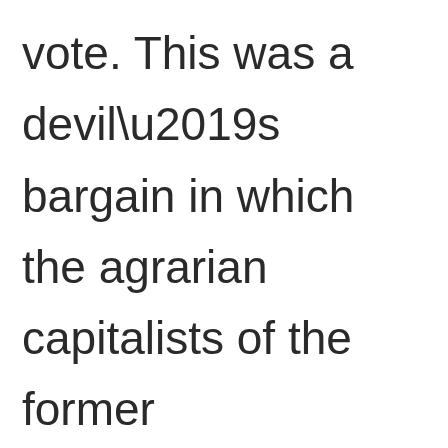vote. This was a devil’s bargain in which the agrarian capitalists of the former Confederacy were allowed to institute